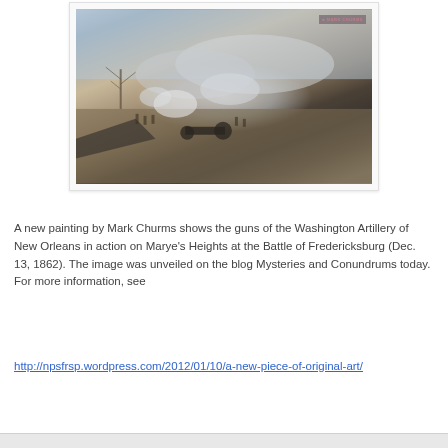[Figure (illustration): A painting by Mark Churms showing the guns of the Washington Artillery of New Orleans in action on Marye's Heights at the Battle of Fredericksburg (Dec. 13, 1862). The scene depicts Civil War artillery and soldiers in a smoky battlefield landscape with buildings in the foreground.]
A new painting by Mark Churms shows the guns of the Washington Artillery of New Orleans in action on Marye's Heights at the Battle of Fredericksburg (Dec. 13, 1862). The image was unveiled on the blog Mysteries and Conundrums today. For more information, see
http://npsfrsp.wordpress.com/2012/01/10/a-new-piece-of-original-art/